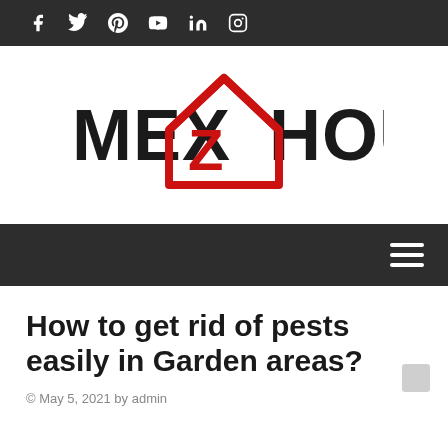Social icons: Facebook, Twitter, Pinterest, YouTube, LinkedIn, Instagram
[Figure (logo): MEX Z HOUSE logo — bold black serif text 'MEX' and 'HOUSE' flanking a red house/roof icon with a red Z inside]
Navigation bar with hamburger menu icon
How to get rid of pests easily in Garden areas?
© May 5, 2021 by admin